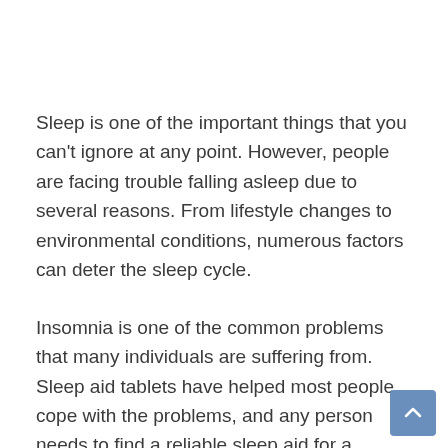Sleep is one of the important things that you can't ignore at any point. However, people are facing trouble falling asleep due to several reasons. From lifestyle changes to environmental conditions, numerous factors can deter the sleep cycle.
Insomnia is one of the common problems that many individuals are suffering from. Sleep aid tablets have helped most people cope with the problems, and any person needs to find a reliable sleep aid for a peaceful sleep.
Using sleeping pills will be easier for you to